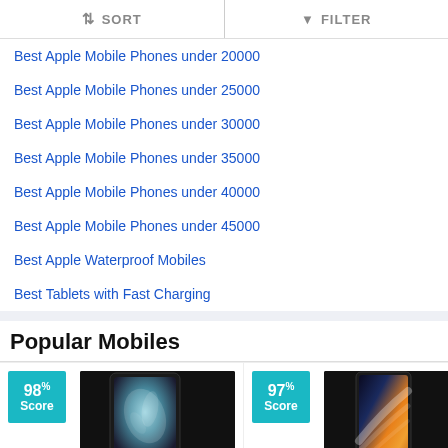SORT   FILTER
Best Apple Mobile Phones under 20000
Best Apple Mobile Phones under 25000
Best Apple Mobile Phones under 30000
Best Apple Mobile Phones under 35000
Best Apple Mobile Phones under 40000
Best Apple Mobile Phones under 45000
Best Apple Waterproof Mobiles
Best Tablets with Fast Charging
Popular Mobiles
[Figure (screenshot): Phone product card showing 98% Score badge and phone image (Samsung Galaxy S22 Ultra)]
[Figure (screenshot): Phone product card showing 97% Score badge and phone image (Samsung Galaxy Z Fold 4)]